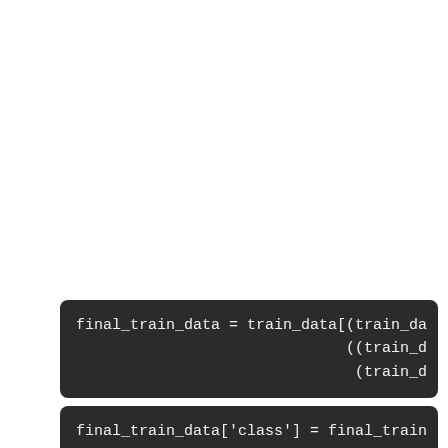[Figure (screenshot): Dark-themed code block showing: final_train_data = train_data[(train_da  ((train_d  (train_d]
[Figure (screenshot): Dark-themed code block showing: final_train_data['class'] = final_train]